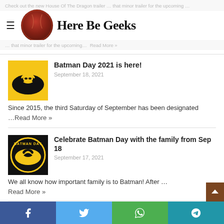Here Be Geeks — navigation logo and hamburger menu
Check out the new House Of The Dragon trailer … that minor trailer for the upcoming … Read More »
Batman Day 2021 is here!
September 18, 2021
Since 2015, the third Saturday of September has been designated …Read More »
Celebrate Batman Day with the family from Sep 18
September 17, 2021
We all know how important family is to Batman! After … Read More »
Grab your games to go with Origame's Board Game Getaway Carrier
September 13, 2021
Singapore-based board game designer and retailer Origame has launched
Social share buttons: Facebook, Twitter, WhatsApp, Telegram